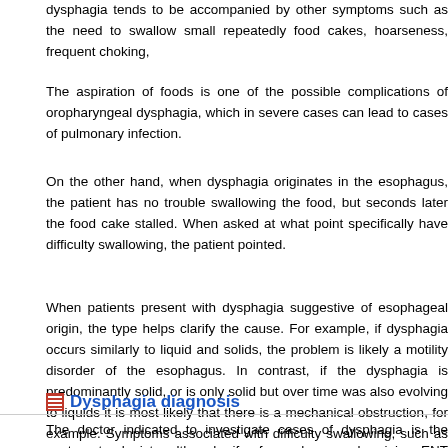dysphagia tends to be accompanied by other symptoms such as the need to swallow small repeatedly food cakes, hoarseness, frequent choking,
The aspiration of foods is one of the possible complications of oropharyngeal dysphagia, which in severe cases can lead to cases of pulmonary infection.
On the other hand, when dysphagia originates in the esophagus, the patient has no trouble swallowing the food, but seconds later the food cake stalled. When asked at what point specifically have difficulty swallowing, the patient pointed.
When patients present with dysphagia suggestive of esophageal origin, the type helps clarify the cause. For example, if dysphagia occurs similarly to liquid and solids, the problem is likely a motility disorder of the esophagus. In contrast, if the dysphagia is predominantly solid, or is only solid but over time was also evolving to liquids it is most likely that there is a mechanical obstruction, for example. Symptoms associated with difficulty swallowing, such as significant weight loss, anemia or frequent regurgitation of undigested food also help define the cause of the disorder.
Dysphagia diagnosis
The doctor indicated to investigate cases of dysphagia is the gastroenterologist, although if of oropharyngeal origin, ENT physician can also help in the investigation.